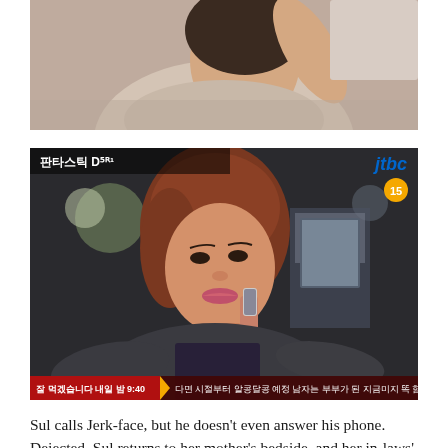[Figure (photo): Top portion of a woman in a light beige/cream colored top with arm raised, appearing to be on a phone call, cropped screenshot from a Korean drama]
[Figure (photo): Screenshot from JTBC Korean drama 'Fantastic' showing a woman with short reddish-brown hair talking on a phone, with Korean TV broadcast overlay including channel logo JTBC, rating 15, and Korean text ticker at the bottom]
Sul calls Jerk-face, but he doesn't even answer his phone. Dejected, Sul returns to her mother's bedside, and her in-laws' insults rattle in her brain. Jin-sook says that it's about time Sul's mother